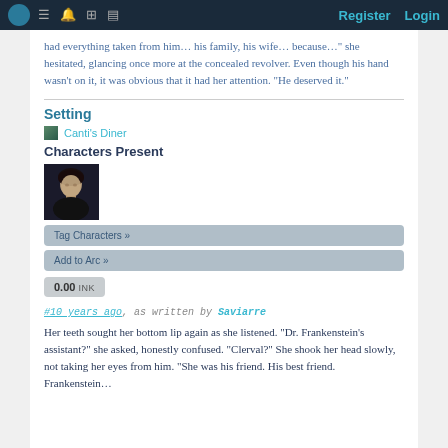Register  Login
had everything taken from him… his family, his wife… because…" she hesitated, glancing once more at the concealed revolver. Even though his hand wasn't on it, it was obvious that it had her attention. "He deserved it."
Setting
Canti's Diner
Characters Present
[Figure (photo): Character portrait photo showing a young woman with dark hair against a dark background]
Tag Characters »
Add to Arc »
0.00 INK
#10 years ago, as written by Saviarre
Her teeth sought her bottom lip again as she listened. "Dr. Frankenstein's assistant?" she asked, honestly confused. "Clerval?" She shook her head slowly, not taking her eyes from him. "She was his friend. His best friend. Frankenstein…